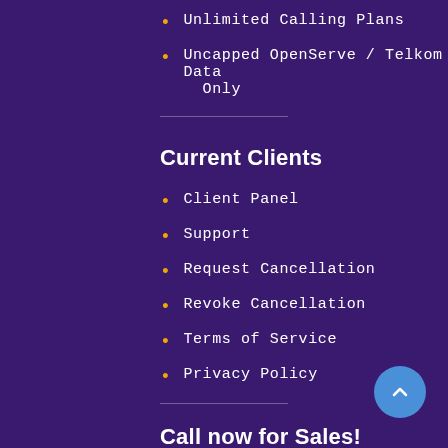Unlimited Calling Plans
Uncapped OpenServe / Telkom Data Only
Current Clients
Client Panel
Support
Request Cancellation
Revoke Cancellation
Terms of Service
Privacy Policy
Call now for Sales!